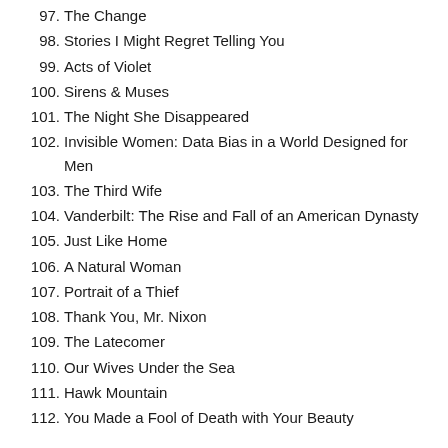97. The Change
98. Stories I Might Regret Telling You
99. Acts of Violet
100. Sirens & Muses
101. The Night She Disappeared
102. Invisible Women: Data Bias in a World Designed for Men
103. The Third Wife
104. Vanderbilt: The Rise and Fall of an American Dynasty
105. Just Like Home
106. A Natural Woman
107. Portrait of a Thief
108. Thank You, Mr. Nixon
109. The Latecomer
110. Our Wives Under the Sea
111. Hawk Mountain
112. You Made a Fool of Death with Your Beauty